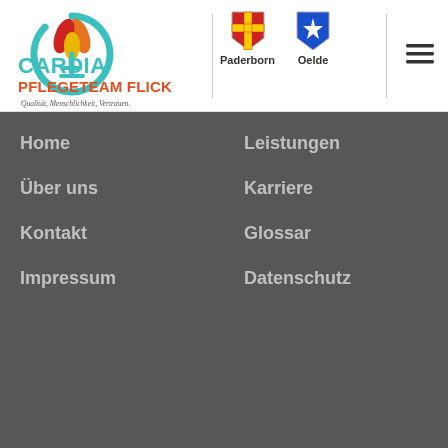[Figure (logo): Cardia Pflegeteam Flick logo with circular swirl graphic and tagline: Qualität, Menschlichkeit, Vertrauen.]
[Figure (other): Paderborn city coat of arms shield icon and Oelde coat of arms shield icon with city labels below]
Home
Leistungen
Über uns
Karriere
Kontakt
Glossar
Impressum
Datenschutz
© 2018 Cardia – created by theCoding